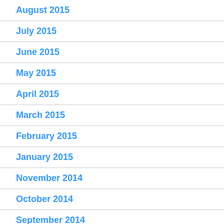August 2015
July 2015
June 2015
May 2015
April 2015
March 2015
February 2015
January 2015
November 2014
October 2014
September 2014